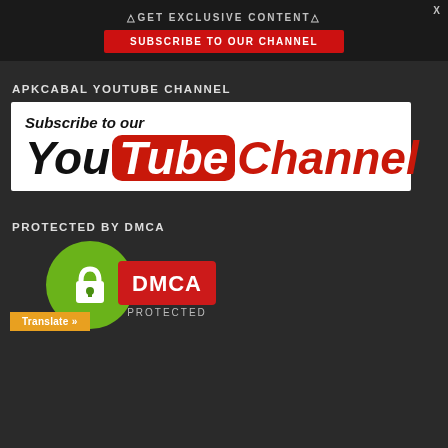△GET EXCLUSIVE CONTENT△
SUBSCRIBE TO OUR CHANNEL
APKCABAL YOUTUBE CHANNEL
[Figure (illustration): Subscribe to our YouTube Channel banner image with YouTube logo style text on white background]
PROTECTED BY DMCA
[Figure (logo): DMCA Protected badge with green shield and DMCA text logo]
Translate »